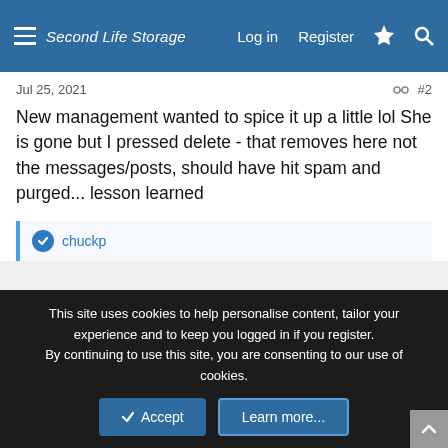Second Life Storage  Log in  Register
Jul 25, 2021  #2
New management wanted to spice it up a little lol She is gone but I pressed delete - that removes here not the messages/posts, should have hit spam and purged... lesson learned
chuckp
chuckp  Member
Jul 25, 2021  #3
This site uses cookies to help personalise content, tailor your experience and to keep you logged in if you register.
By continuing to use this site, you are consenting to our use of cookies.
Accept  Learn more...